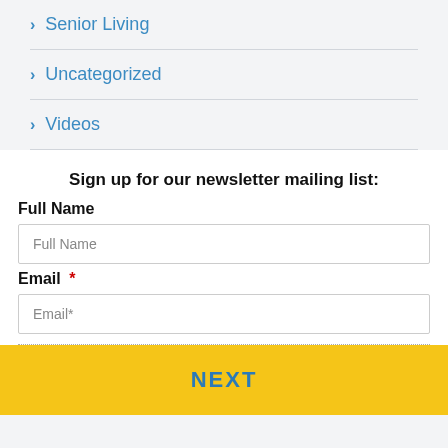> Senior Living
> Uncategorized
> Videos
Sign up for our newsletter mailing list:
Full Name
Email *
NEXT